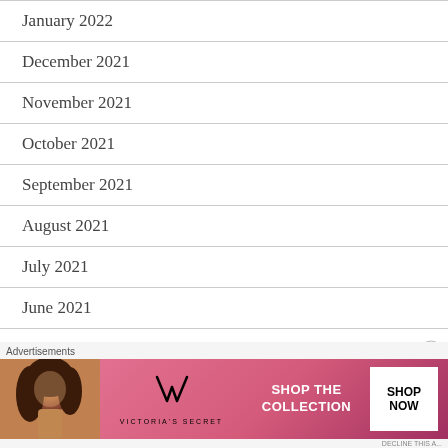January 2022
December 2021
November 2021
October 2021
September 2021
August 2021
July 2021
June 2021
May 2021
April 2021
[Figure (illustration): Victoria's Secret advertisement banner showing a model, VS logo, 'SHOP THE COLLECTION' text, and 'SHOP NOW' button]
Advertisements